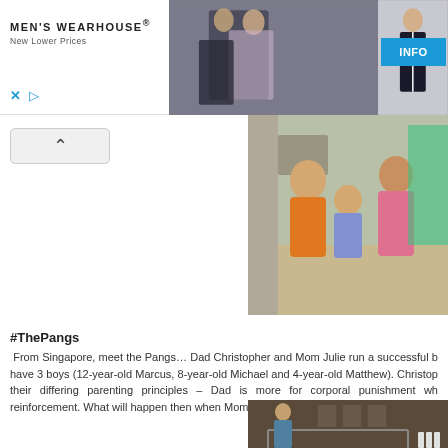[Figure (photo): MEN'S WEARHOUSE advertisement banner showing couple at wedding and man in suit, with INFO button]
[Figure (photo): Family photo showing adults and a young child indoors with colorful background]
#ThePangs
From Singapore, meet the Pangs… Dad Christopher and Mom Julie run a successful b have 3 boys (12-year-old Marcus, 8-year-old Michael and 4-year-old Matthew). Christop their differing parenting principles – Dad is more for corporal punishment wh reinforcement. What will happen then when Mom is away?
[Figure (photo): Indoor scene showing people near clothing rack in what appears to be a boutique or wardrobe]